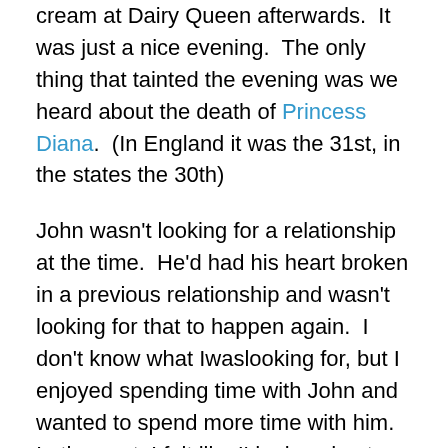cream at Dairy Queen afterwards.  It was just a nice evening.  The only thing that tainted the evening was we heard about the death of Princess Diana.  (In England it was the 31st, in the states the 30th)
John wasn't looking for a relationship at the time.  He'd had his heart broken in a previous relationship and wasn't looking for that to happen again.  I don't know what Iwaslooking for, but I enjoyed spending time with John and wanted to spend more time with him.  In the past, I felt like I'd missed out on opportunites because I didn't pursue them, so this time I felt I had nothing to lose… either the relationship would grow into something I wanted or it wouldn't.  I thought John was cute, I liked his long legs (that he always hated) and his slim build and his height.  I LOVED his sense of humor and his intelligence.  I really liked how passionate he was about the fire department.  I